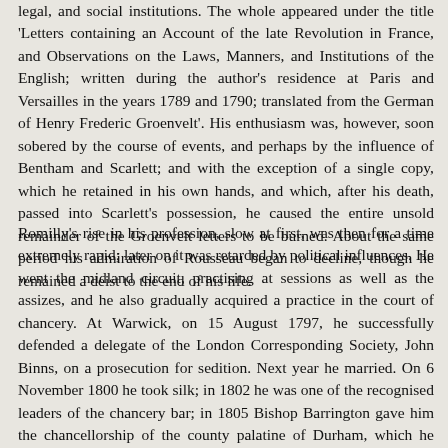legal, and social institutions. The whole appeared under the title 'Letters containing an Account of the late Revolution in France, and Observations on the Laws, Manners, and Institutions of the English; written during the author's residence at Paris and Versailles in the years 1789 and 1790; translated from the German of Henry Frederic Groenvelt'. His enthusiasm was, however, soon sobered by the course of events, and perhaps by the influence of Bentham and Scarlett; and with the exception of a single copy, which he retained in his own hands, and which, after his death, passed into Scarlett's possession, he caused the entire unsold remainder of the Groenvelt letters to be burned. About the same period his admiration of Rousseau began to decline, though he remained a deist to the end of his life.
Romilly's rise in his profession, slow at first, was then for a time extremely rapid; later on it was retarded by political influences. He went the midland circuit, practising at sessions as well as the assizes, and he also gradually acquired a practice in the court of chancery. At Warwick, on 15 August 1797, he successfully defended a delegate of the London Corresponding Society, John Binns, on a prosecution for sedition. Next year he married. On 6 November 1800 he took silk; in 1802 he was one of the recognised leaders of the chancery bar; in 1805 Bishop Barrington gave him the chancellorship of the county palatine of Durham, which he held until 1815. On 12 February 1806 he was sworn in as solicitor-general to the administration of 'All the Talents,' and knighted. He